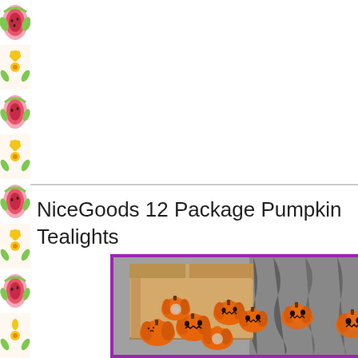[Figure (illustration): Decorative left border strip with repeated fruit/watermelon and flower pattern in pink, green, yellow and red colors]
NiceGoods 12 Package Pumpkin Tealights
[Figure (photo): Photo of an open cardboard box containing 12 orange pumpkin-shaped tealight candles with jack-o-lantern faces, placed on a zebra-print surface with grey background]